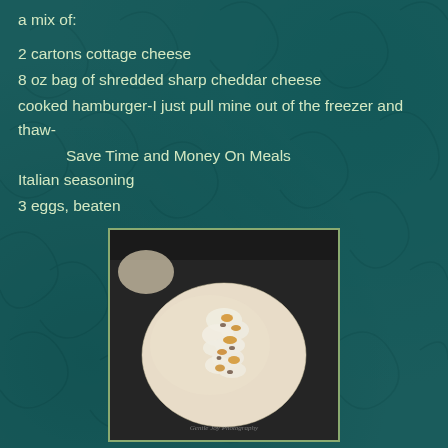a mix of:
2 cartons cottage cheese
8 oz bag of shredded sharp cheddar cheese
cooked hamburger-I just pull mine out of the freezer and thaw-
Save Time and Money On Meals
Italian seasoning
3 eggs, beaten
[Figure (photo): A piece of unbaked dough topped with cottage cheese and shredded cheddar mixture on a dark baking pan, with a watermark reading 'Gentle Joy Photography']